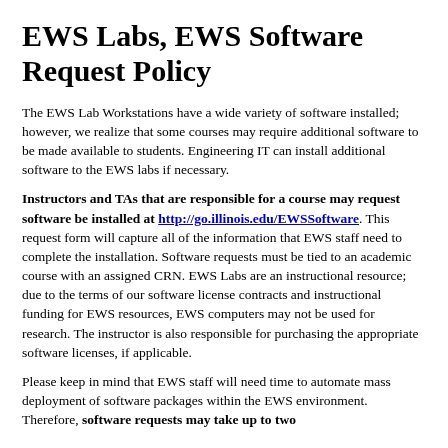EWS Labs, EWS Software Request Policy
The EWS Lab Workstations have a wide variety of software installed; however, we realize that some courses may require additional software to be made available to students. Engineering IT can install additional software to the EWS labs if necessary.
Instructors and TAs that are responsible for a course may request software be installed at http://go.illinois.edu/EWSSoftware. This request form will capture all of the information that EWS staff need to complete the installation. Software requests must be tied to an academic course with an assigned CRN. EWS Labs are an instructional resource; due to the terms of our software license contracts and instructional funding for EWS resources, EWS computers may not be used for research. The instructor is also responsible for purchasing the appropriate software licenses, if applicable.
Please keep in mind that EWS staff will need time to automate mass deployment of software packages within the EWS environment. Therefore, software requests may take up to two